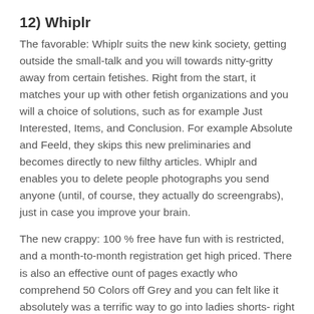12) Whiplr
The favorable: Whiplr suits the new kink society, getting outside the small-talk and you will towards nitty-gritty away from certain fetishes. Right from the start, it matches your up with other fetish organizations and you will a choice of solutions, such as for example Just Interested, Items, and Conclusion. For example Absolute and Feeld, they skips this new preliminaries and becomes directly to new filthy articles. Whiplr and enables you to delete people photographs you send anyone (until, of course, they actually do screengrabs), just in case you improve your brain.
The new crappy: 100 % free have fun with is restricted, and a month-to-month registration get high priced. There is also an effective ount of pages exactly who comprehend 50 Colors off Grey and you can felt like it absolutely was a terrific way to go into ladies shorts- right after which you can find individuals who…